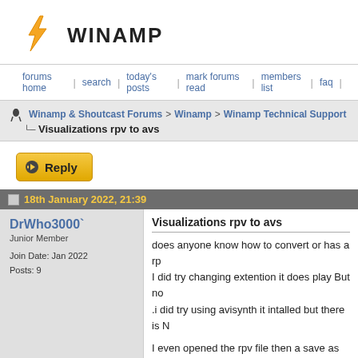WINAMP
forums home | search | today's posts | mark forums read | members list | faq |
Winamp & Shoutcast Forums > Winamp > Winamp Technical Support
.. Visualizations rpv to avs
Reply
18th January 2022, 21:39
DrWho3000`
Junior Member

Join Date: Jan 2022
Posts: 9
Visualizations rpv to avs

does anyone know how to convert or has a rp
I did try changing extention it does play But no
.i did try using avisynth it intalled but there is N

I even opened the rpv file then a save as avs r
realjukebox has some real nifty visuals why I v